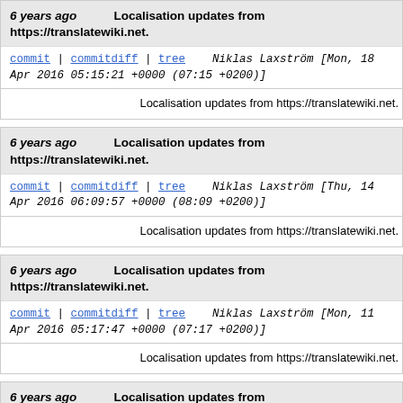6 years ago   Localisation updates from https://translatewiki.net.
commit | commitdiff | tree   Niklas Laxström [Mon, 18 Apr 2016 05:15:21 +0000 (07:15 +0200)]
Localisation updates from https://translatewiki.net.
6 years ago   Localisation updates from https://translatewiki.net.
commit | commitdiff | tree   Niklas Laxström [Thu, 14 Apr 2016 06:09:57 +0000 (08:09 +0200)]
Localisation updates from https://translatewiki.net.
6 years ago   Localisation updates from https://translatewiki.net.
commit | commitdiff | tree   Niklas Laxström [Mon, 11 Apr 2016 05:17:47 +0000 (07:17 +0200)]
Localisation updates from https://translatewiki.net.
6 years ago   Localisation updates from https://translatewiki.net.